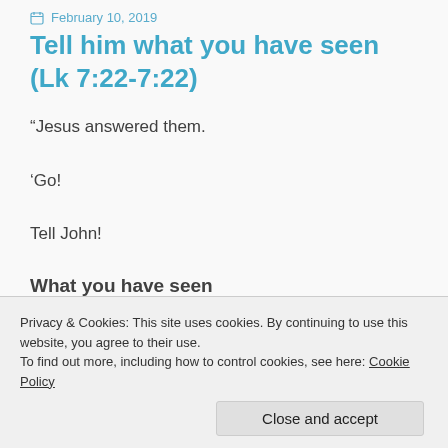February 10, 2019
Tell him what you have seen (Lk 7:22-7:22)
“Jesus answered them.
‘Go!
Tell John!
What you have seen
Privacy & Cookies: This site uses cookies. By continuing to use this website, you agree to their use.
To find out more, including how to control cookies, see here: Cookie Policy
Close and accept